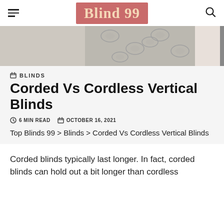Blind 99 — navigation header with hamburger menu and search icon
[Figure (photo): Hero banner image showing decorative curtains/blinds with a floral/damask pattern in grey and white tones]
BLINDS
Corded Vs Cordless Vertical Blinds
6 MIN READ   OCTOBER 16, 2021
Top Blinds 99 > Blinds > Corded Vs Cordless Vertical Blinds
Corded blinds typically last longer. In fact, corded blinds can hold out a bit longer than cordless